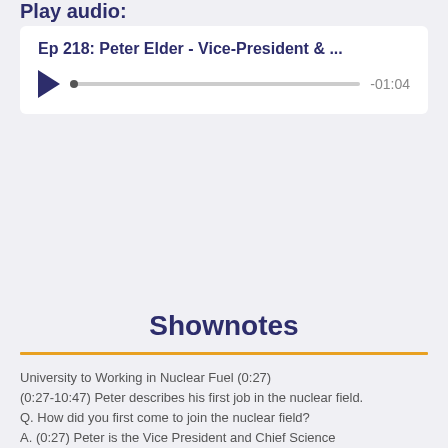Play audio:
[Figure (other): Audio player widget showing episode title 'Ep 218: Peter Elder - Vice-President & ...' with a play button, progress bar, and time display '-01:04']
Shownotes
University to Working in Nuclear Fuel (0:27)
(0:27-10:47) Peter describes his first job in the nuclear field.
Q. How did you first come to join the nuclear field?
A. (0:27) Peter is the Vice President and Chief Science Officer at the Canadian Nuclear Safety Commission. Peter didn't join the nuclear field entirely by accident. While at the University of